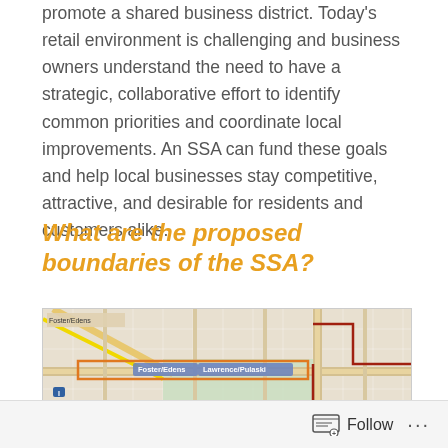promote a shared business district. Today's retail environment is challenging and business owners understand the need to have a strategic, collaborative effort to identify common priorities and coordinate local improvements. An SSA can fund these goals and help local businesses stay competitive, attractive, and desirable for residents and customers alike.
What are the proposed boundaries of the SSA?
[Figure (map): Street map showing proposed SSA boundaries. Features Foster/Edens and Lawrence/Pulaski intersections, Ward 39 and Ward 35 labels, with orange boundary lines marking the SSA district on a grid street map with green park areas.]
Follow ···